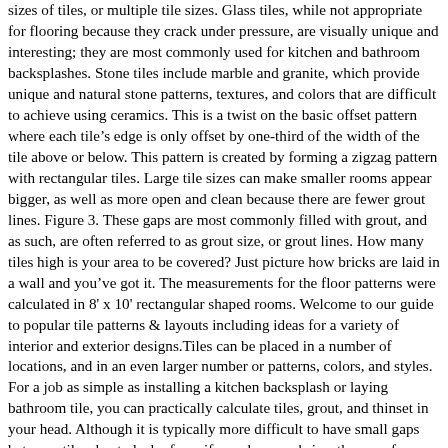sizes of tiles, or multiple tile sizes. Glass tiles, while not appropriate for flooring because they crack under pressure, are visually unique and interesting; they are most commonly used for kitchen and bathroom backsplashes. Stone tiles include marble and granite, which provide unique and natural stone patterns, textures, and colors that are difficult to achieve using ceramics. This is a twist on the basic offset pattern where each tile’s edge is only offset by one-third of the width of the tile above or below. This pattern is created by forming a zigzag pattern with rectangular tiles. Large tile sizes can make smaller rooms appear bigger, as well as more open and clean because there are fewer grout lines. Figure 3. These gaps are most commonly filled with grout, and as such, are often referred to as grout size, or grout lines. How many tiles high is your area to be covered? Just picture how bricks are laid in a wall and you’ve got it. The measurements for the floor patterns were calculated in 8' x 10' rectangular shaped rooms. Welcome to our guide to popular tile patterns & layouts including ideas for a variety of interior and exterior designs.Tiles can be placed in a number of locations, and in an even larger number or patterns, colors, and styles. For a job as simple as installing a kitchen backsplash or laying bathroom tile, you can practically calculate tiles, grout, and thinset in your head. Although it is typically more difficult to have small gaps between tiles due to lack of a uniform shape and size, the use of rectified tiles (tiles that undergo additional processing to ensure that they are uniform) can allow for smaller spacing, though at an additional cost. Knowing these, our online tile calculator can calculate the area size and the area of a single tile. Sign Up for Email. The most popular tile sizes for the pattern selected appear, and after that quick selection, you can head to …These are the most 10th by 10th... Grid...